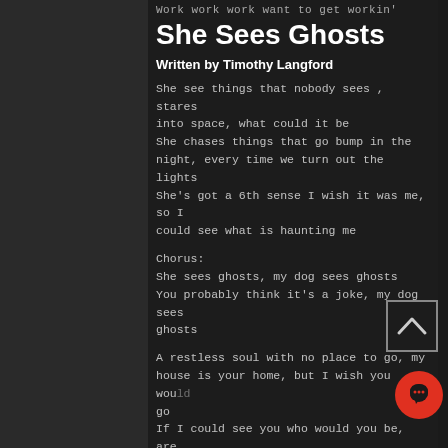Work work work want to get workin'
She Sees Ghosts
Written by Timothy Langford
She see things that nobody sees , stares into space, what could it be
She chases things that go bump in the night, every time we turn out the lights
She's got a 6th sense I wish it was me, so I could see what is haunting me
Chorus:
She sees ghosts, my dog sees ghosts
You probably think it's a joke, my dog sees ghosts
A restless soul with no place to go, my house is your home, but I wish you would go
If I could see you who would you be, are you a member of the family
Chorus: